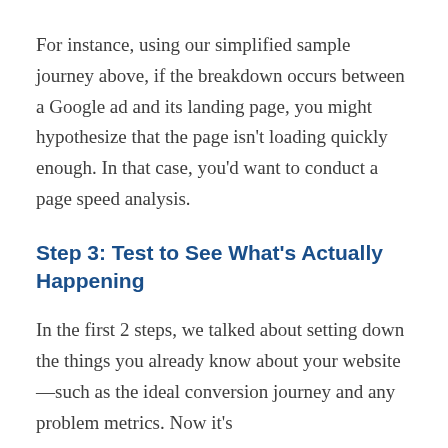For instance, using our simplified sample journey above, if the breakdown occurs between a Google ad and its landing page, you might hypothesize that the page isn't loading quickly enough. In that case, you'd want to conduct a page speed analysis.
Step 3: Test to See What's Actually Happening
In the first 2 steps, we talked about setting down the things you already know about your website—such as the ideal conversion journey and any problem metrics. Now it's